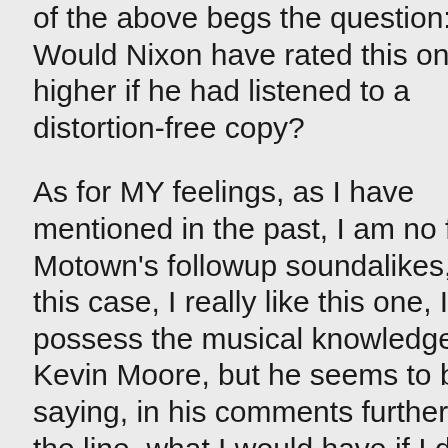of the above begs the question: Would Nixon have rated this one higher if he had listened to a distortion-free copy?

As for MY feelings, as I have mentioned in the past, I am no fan of Motown's followup soundalikes, but in this case, I really like this one, I don't possess the musical knowledge of Kevin Moore, but he seems to be saying, in his comments further down the line, what I would have if I did have a better